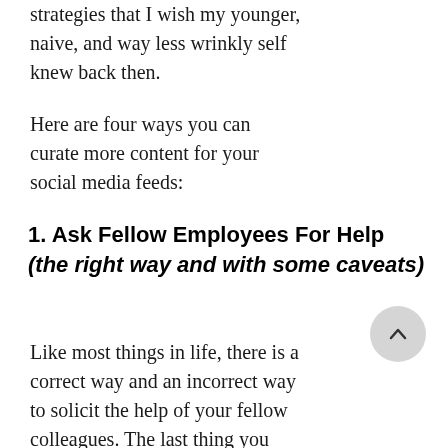strategies that I wish my younger, naive, and way less wrinkly self knew back then.
Here are four ways you can curate more content for your social media feeds:
1. Ask Fellow Employees For Help (the right way and with some caveats)
Like most things in life, there is a correct way and an incorrect way to solicit the help of your fellow colleagues. The last thing you need is  Sharon from accounting sending you selfies and then...